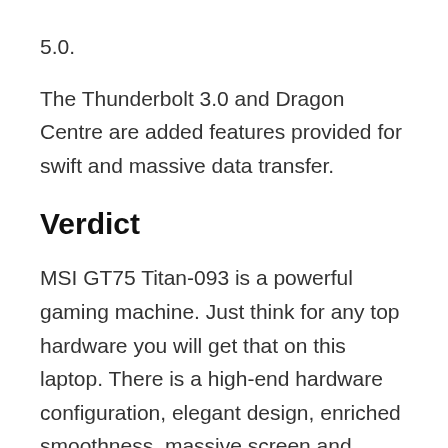5.0.
The Thunderbolt 3.0 and Dragon Centre are added features provided for swift and massive data transfer.
Verdict
MSI GT75 Titan-093 is a powerful gaming machine. Just think for any top hardware you will get that on this laptop. There is a high-end hardware configuration, elegant design, enriched smoothness, massive screen and reputed brand name associated with unmatched gaming experience altogether. You never remain short of memory with huge